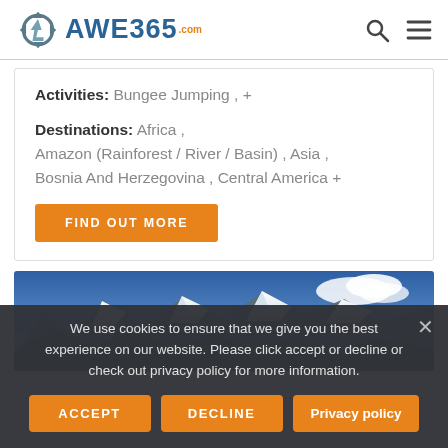[Figure (logo): AWE365.com logo with recycling-style arrow icon in blue/grey]
Activities: Bungee Jumping, +
Destinations: Africa, Amazon (Rainforest / River / Basin), Asia, Bosnia And Herzegovina, Central America +
FIND OUT MORE
[Figure (photo): Snow-capped mountain peaks under blue sky]
We use cookies to ensure that we give you the best experience on our website. Please click accept or decline or check out privacy policy for more information.
ACCEPT   DECLINE   Privacy policy